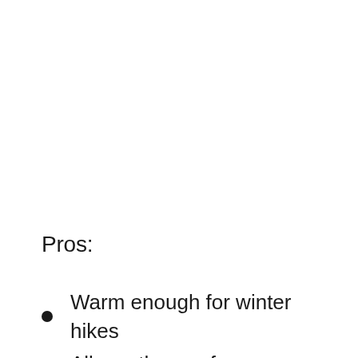Pros:
Warm enough for winter hikes
All-weather performance
Great for marathons